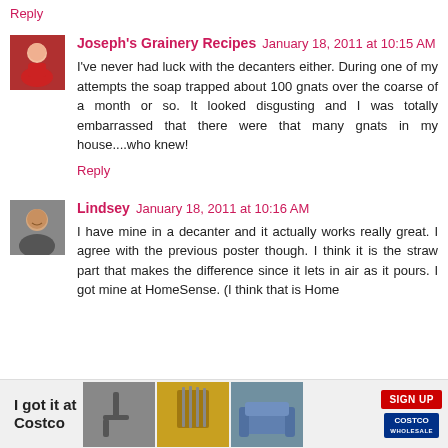Reply
Joseph's Grainery Recipes  January 18, 2011 at 10:15 AM
I've never had luck with the decanters either. During one of my attempts the soap trapped about 100 gnats over the coarse of a month or so. It looked disgusting and I was totally embarrassed that there were that many gnats in my house....who knew!
Reply
Lindsey  January 18, 2011 at 10:16 AM
I have mine in a decanter and it actually works really great. I agree with the previous poster though. I think it is the straw part that makes the difference since it lets in air as it pours. I got mine at HomeSense. (I think that is Home
[Figure (infographic): Costco advertisement banner with text 'I got it at Costco', product images (faucet, knives, sofa), a red SIGN UP button, and Costco Wholesale logo]